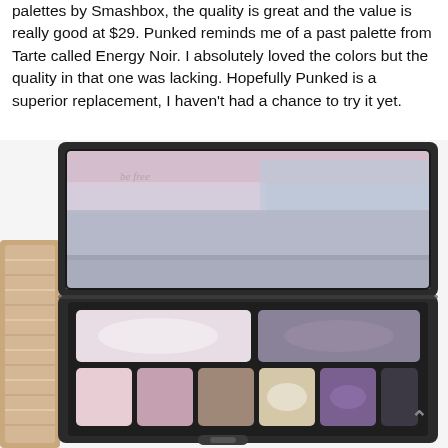palettes by Smashbox, the quality is great and the value is really good at $29. Punked reminds me of a past palette from Tarte called Energy Noir. I absolutely loved the colors but the quality in that one was lacking. Hopefully Punked is a superior replacement, I haven't had a chance to try it yet.
[Figure (photo): Smashbox Punked eyeshadow palette open in a black compact, showing 8 eyeshadow pans in shades of pink, mauve, taupe, champagne, purple, and dark grey/charcoal, with a large mirror lid open showing a blurred reflection. A glittery gold/rose gold product is partially visible on the left edge. The palette sits on a white surface.]